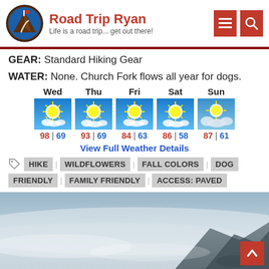Road Trip Ryan — Life is a road trip... get out there!
GEAR: Standard Hiking Gear
WATER: None. Church Fork flows all year for dogs.
[Figure (infographic): 5-day weather forecast showing Wed through Sun with sunny/partly cloudy icons. Wed: 98|69, Thu: 93|69, Fri: 84|63, Sat: 86|58, Sun: 87|61]
View Full Weather Details
HIKE
WILDFLOWERS
FALL COLORS
DOG FRIENDLY
FAMILY FRIENDLY
ACCESS: PAVED
[Figure (photo): Landscape photo of a misty mountain trail scene with rocky hillside and fog/haze, shot from an elevated viewpoint]